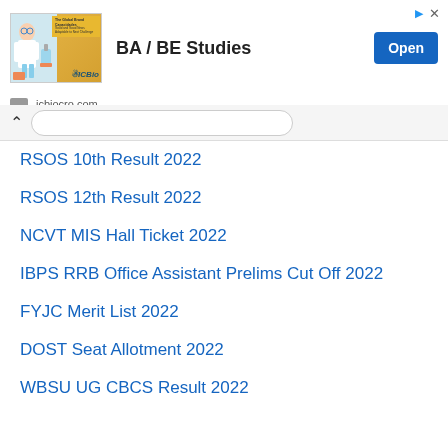[Figure (screenshot): Advertisement banner for BA/BE Studies by ICBio (icbiocro.com) with Open button]
RSOS 10th Result 2022
RSOS 12th Result 2022
NCVT MIS Hall Ticket 2022
IBPS RRB Office Assistant Prelims Cut Off 2022
FYJC Merit List 2022
DOST Seat Allotment 2022
WBSU UG CBCS Result 2022